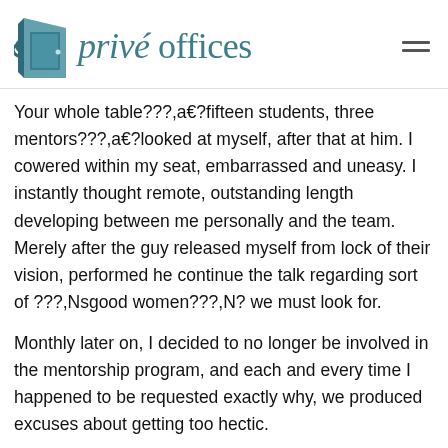privé offices
Your whole table???,a€?fifteen students, three mentors???,a€?looked at myself, after that at him. I cowered within my seat, embarrassed and uneasy. I instantly thought remote, outstanding length developing between me personally and the team. Merely after the guy released myself from lock of their vision, performed he continue the talk regarding sort of ???,Nsgood women???,N? we must look for.
Monthly later on, I decided to no longer be involved in the mentorship program, and each and every time I happened to be requested exactly why, we produced excuses about getting too hectic.
Soon enough, We retreated into my personal dream